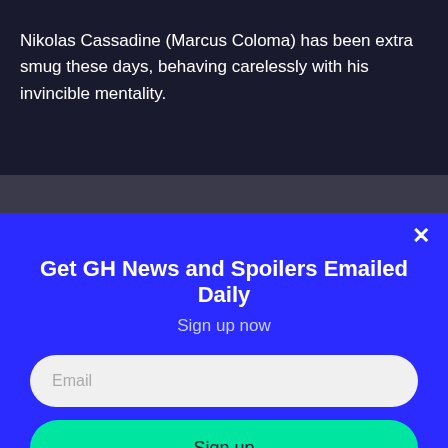Nikolas Cassadine (Marcus Coloma) has been extra smug these days, behaving carelessly with his invincible mentality.
Get GH News and Spoilers Emailed Daily
Sign up now
Email
Sign up